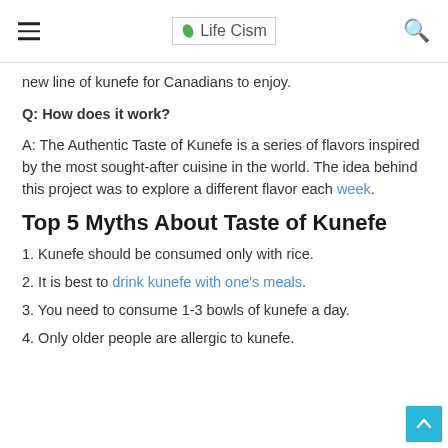Life Cism
new line of kunefe for Canadians to enjoy.
Q: How does it work?
A: The Authentic Taste of Kunefe is a series of flavors inspired by the most sought-after cuisine in the world. The idea behind this project was to explore a different flavor each week.
Top 5 Myths About Taste of Kunefe
1. Kunefe should be consumed only with rice.
2. It is best to drink kunefe with one's meals.
3. You need to consume 1-3 bowls of kunefe a day.
4. Only older people are allergic to kunefe.